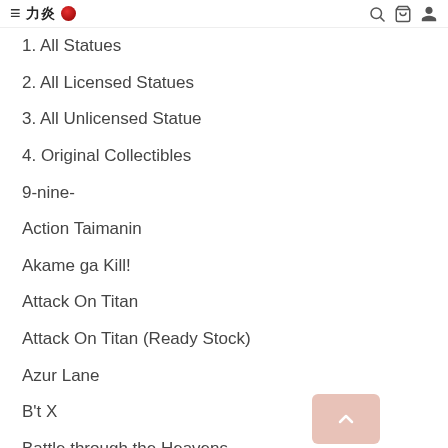≡ 力炎 [logo] 🔍 🛒 👤
1. All Statues
2. All Licensed Statues
3. All Unlicensed Statue
4. Original Collectibles
9-nine-
Action Taimanin
Akame ga Kill!
Attack On Titan
Attack On Titan (Ready Stock)
Azur Lane
B't X
Battle through the Heavens
Bayonetta
Bleach
Bleach (Licensed)